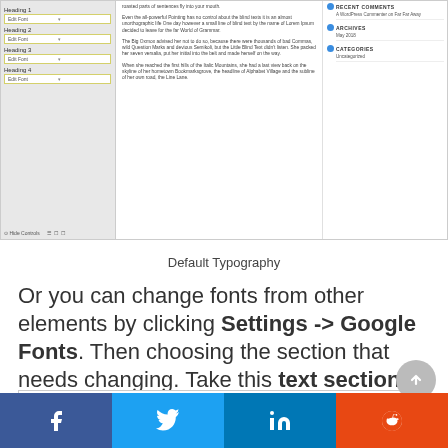[Figure (screenshot): Screenshot of a WordPress theme typography settings page showing left panel with heading editors (Heading 1, Heading 2, Heading 3, Heading 4 with Edit Font buttons), center content area with Lorem Ipsum paragraphs, and right sidebar with Recent Comments, Archives (May 2018), and Categories (Uncategorized) sections.]
Default Typography
Or you can change fonts from other elements by clicking Settings -> Google Fonts. Then choosing the section that needs changing. Take this text section below as an example.
[Figure (screenshot): Bottom edge of a content box with a border.]
[Figure (other): Scroll-to-top circular grey button with upward arrow.]
[Figure (infographic): Social share bar with four buttons: Facebook (dark blue), Twitter (light blue), LinkedIn (dark blue), Reddit (orange-red), each with respective social media icons.]